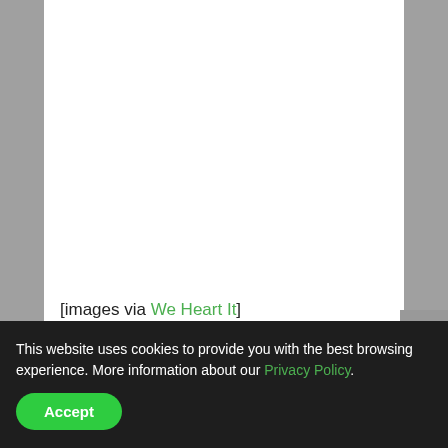[images via We Heart It]
This website uses cookies to provide you with the best browsing experience. More information about our Privacy Policy.
Accept